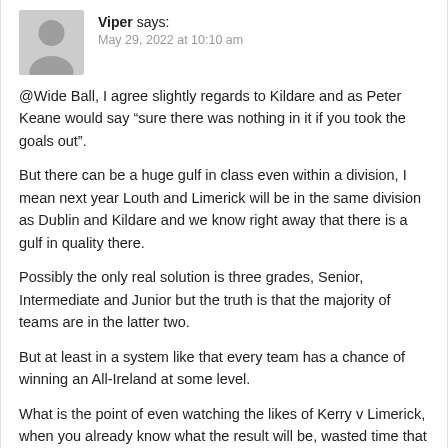Viper says:
May 29, 2022 at 10:10 am
@Wide Ball, I agree slightly regards to Kildare and as Peter Keane would say “sure there was nothing in it if you took the goals out”.
But there can be a huge gulf in class even within a division, I mean next year Louth and Limerick will be in the same division as Dublin and Kildare and we know right away that there is a gulf in quality there.
Possibly the only real solution is three grades, Senior, Intermediate and Junior but the truth is that the majority of teams are in the latter two.
But at least in a system like that every team has a chance of winning an All-Ireland at some level.
What is the point of even watching the likes of Kerry v Limerick, when you already know what the result will be, wasted time that you'll never get back.